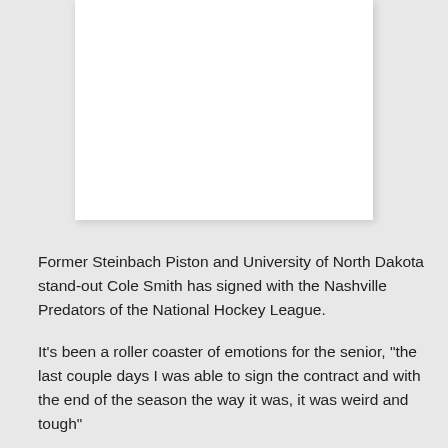[Figure (photo): A white rectangular image area shown on a light grey background, appearing to be a photo placeholder or partially visible image.]
Former Steinbach Piston and University of North Dakota stand-out Cole Smith has signed with the Nashville Predators of the National Hockey League.
It's been a roller coaster of emotions for the senior, "the last couple days I was able to sign the contract and with the end of the season the way it was, it was weird and tough" S…the…d Th… d… ft…… "B t t b t… ld…